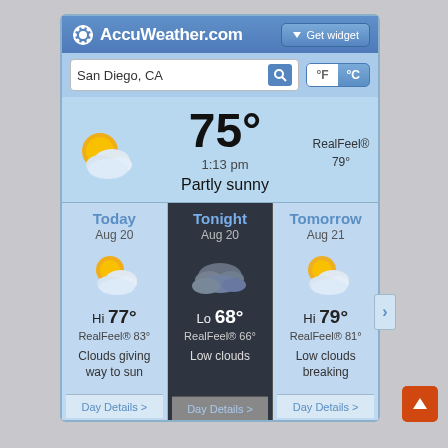[Figure (screenshot): AccuWeather.com weather widget showing San Diego, CA weather: 75°F, Partly sunny at 1:13 pm, RealFeel 79°. Forecast panels for Today Aug 20 (Hi 77°, RealFeel 83°, Clouds giving way to sun), Tonight Aug 20 (Lo 68°, RealFeel 66°, Low clouds), Tomorrow Aug 21 (Hi 79°, RealFeel 81°, Low clouds breaking).]